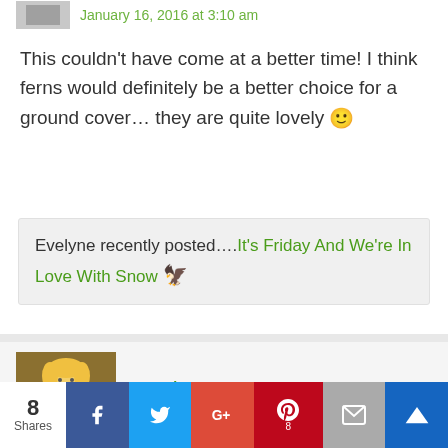January 16, 2016 at 3:10 am
This couldn't have come at a better time! I think ferns would definitely be a better choice for a ground cover… they are quite lovely 🙂
Evelyne recently posted....It's Friday And We're In Love With Snow 🔥
[Figure (photo): Avatar photo of carol commenter - anime doll figure with yellow hair]
carol says
January 12, 2016 at 11:00 pm
8 Shares — Facebook, Twitter, Google+, Pinterest (8), Mail, More